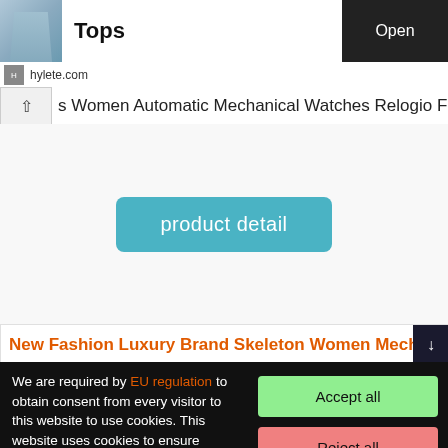[Figure (screenshot): Product image of clothing (tops) in blue/teal color]
Tops
Open
hylete.com
s Women Automatic Mechanical Watches Relogio Feminino
product detail
New Fashion Luxury Brand Skeleton Women Mechanical
We are required by EU regulation to obtain consent from every visitor to this website to use cookies. This website uses cookies to ensure functionality and, with your consent, to personalise content and measure traffic, among other things. By clicking on the "Accept All" button, you agree to the use of cookies and to the transfer of website behavioural data for the display of targeted advertising on social networks, advertising networks on other sites.
Accept all
Reject all
Detailed settings